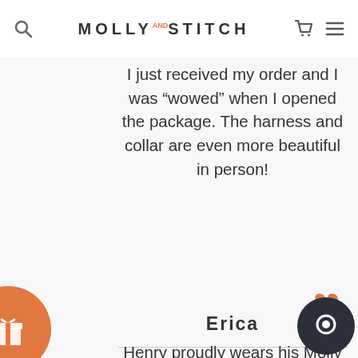MOLLY AND STITCH
I just received my order and I was “wowed” when I opened the package. The harness and collar are even more beautiful in person!
Erica
Henry proudly wears his Molly and stitch collar! We love the